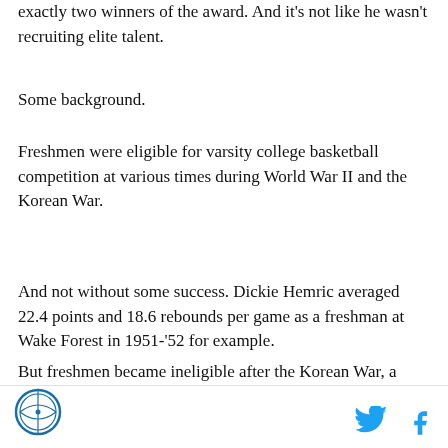exactly two winners of the award. And it's not like he wasn't recruiting elite talent.
Some background.
Freshmen were eligible for varsity college basketball competition at various times during World War II and the Korean War.
And not without some success. Dickie Hemric averaged 22.4 points and 18.6 rebounds per game as a freshman at Wake Forest in 1951-'52 for example.
But freshmen became ineligible after the Korean War, a state of affairs that lasted for two decades, two decades in which college basketball grew in popularity.